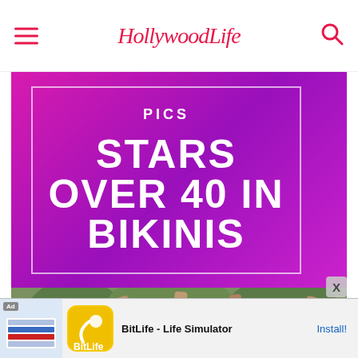HollywoodLife
[Figure (illustration): HollywoodLife magazine-style graphic with magenta/purple gradient background, white inner border, 'PICS' label, and large bold white text reading 'STARS OVER 40 IN BIKINIS']
[Figure (photo): Photo of a woman with reddish hair outdoors near trees and wooden structures]
[Figure (screenshot): Ad banner at bottom: BitLife - Life Simulator game advertisement with Install button]